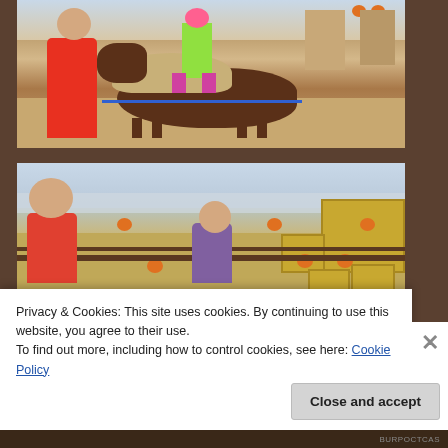[Figure (photo): A child in a pink helmet and green outfit riding a small pony/miniature horse at what appears to be a fall festival or pumpkin patch. A person in a red shirt stands beside the pony. The area has pumpkins and dirt ground.]
[Figure (photo): Two children at a fall festival or pumpkin patch. One child in a red shirt is on the left, another smiling child in a plaid shirt is on the right. Hay bales and pumpkins are visible in the background.]
Privacy & Cookies: This site uses cookies. By continuing to use this website, you agree to their use.
To find out more, including how to control cookies, see here: Cookie Policy